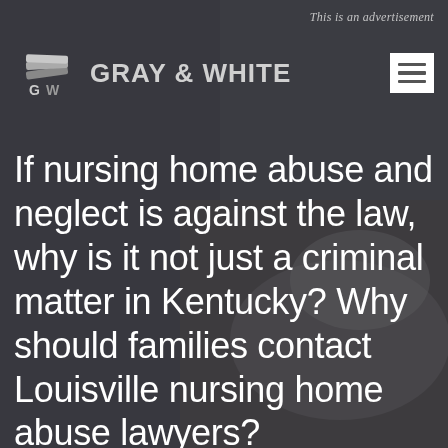This is an advertisement
[Figure (logo): Gray & White law firm logo with stylized GW icon and firm name]
If nursing home abuse and neglect is against the law, why is it not just a criminal matter in Kentucky? Why should families contact Louisville nursing home abuse lawyers?